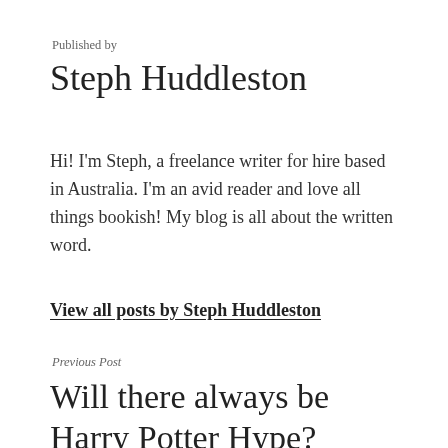Published by
Steph Huddleston
Hi! I'm Steph, a freelance writer for hire based in Australia. I'm an avid reader and love all things bookish! My blog is all about the written word.
View all posts by Steph Huddleston
Previous Post
Will there always be Harry Potter Hype?